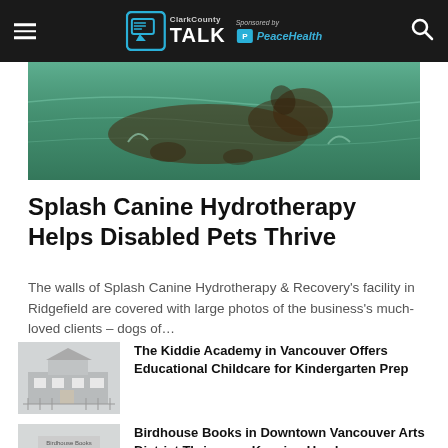ClarkCounty TALK – Sponsored by PeaceHealth
[Figure (photo): Close-up photo of a dog swimming in turquoise/green water at Splash Canine Hydrotherapy facility]
Splash Canine Hydrotherapy Helps Disabled Pets Thrive
The walls of Splash Canine Hydrotherapy & Recovery's facility in Ridgefield are covered with large photos of the business's much-loved clients – dogs of…
[Figure (photo): Thumbnail image of Kiddie Academy building exterior, grayscale]
The Kiddie Academy in Vancouver Offers Educational Childcare for Kindergarten Prep
[Figure (photo): Thumbnail image of Birdhouse Books storefront, grayscale]
Birdhouse Books in Downtown Vancouver Arts District Thrives on Keeping Used…